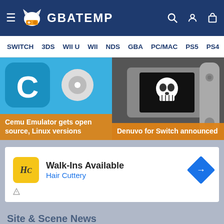GBAtemp
[Figure (screenshot): GBAtemp website navigation bar with links: SWITCH, 3DS, WII U, WII, NDS, GBA, PC/MAC, PS5, PS4]
[Figure (screenshot): Featured news carousel showing two items: 'Cemu Emulator gets open source, Linux versions' on left with blue background, and 'Denuvo for Switch announced' on right with Nintendo Switch and skull image, both with orange overlays]
[Figure (other): Advertisement: Walk-Ins Available - Hair Cuttery]
Site & Scene News
[Figure (screenshot): News article thumbnail for Flintlock: The Siege of Dawn]
'Flintlock: The Siege of Dawn' gameplay revealed in new trailer